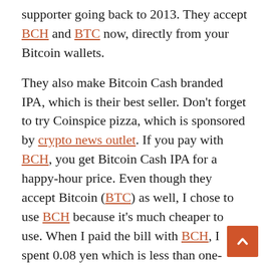supporter going back to 2013. They accept BCH and BTC now, directly from your Bitcoin wallets.
They also make Bitcoin Cash branded IPA, which is their best seller. Don't forget to try Coinspice pizza, which is sponsored by crypto news outlet. If you pay with BCH, you get Bitcoin Cash IPA for a happy-hour price. Even though they accept Bitcoin (BTC) as well, I chose to use BCH because it's much cheaper to use. When I paid the bill with BCH, I spent 0.08 yen which is less than one-tenth of a penny, but if I used BTC, I would have paid 100-200 yen on top of my bill. Two Dogs' owner told me that nobody really pays with BTC anymore because of its high fees.
Tipping in Japan isn't common, but it's fun to tip in BCH, so I added another 300 yen on top of my bill.